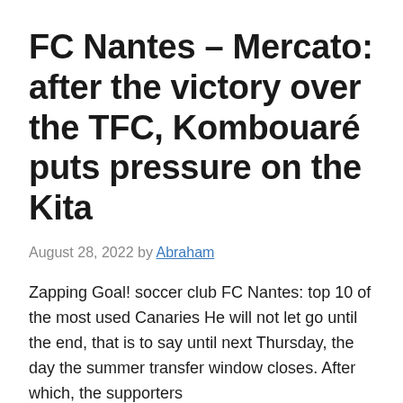FC Nantes – Mercato: after the victory over the TFC, Kombouaré puts pressure on the Kita
August 28, 2022 by Abraham
Zapping Goal! soccer club FC Nantes: top 10 of the most used Canaries He will not let go until the end, that is to say until next Thursday, the day the summer transfer window closes. After which, the supporters